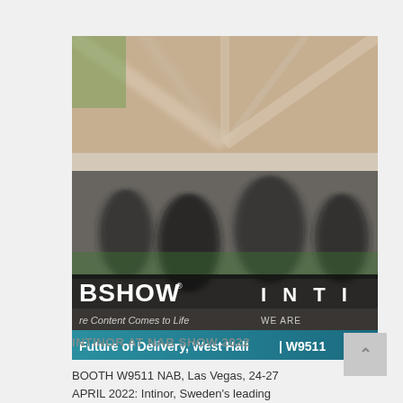[Figure (photo): A blurred motion-zoom photograph of a crowded trade show floor, overlaid with text banners reading 'BSHOW', 'Where Content Comes to Life', 'I N T I', 'WE ARE', and 'Future of Delivery, West Hall | W9511']
INTINOR AT NAB SHOW 2022
BOOTH W9511 NAB, Las Vegas, 24-27 APRIL 2022: Intinor, Sweden's leading